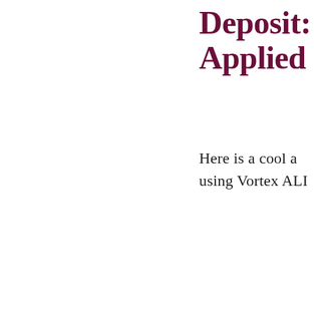Deposit: Applied
Here is a cool a using Vortex ALI